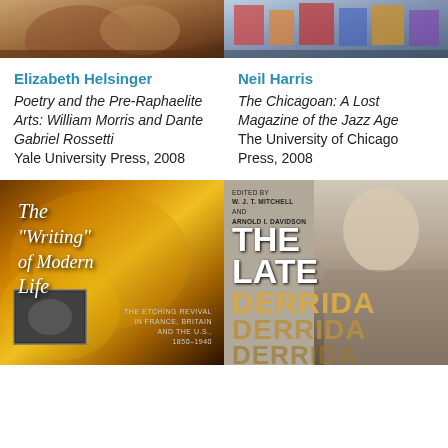[Figure (photo): Top portion of a book cover showing a painterly/illustrative scene, warm earth tones]
[Figure (photo): Top portion of a book cover showing a colorful urban/city illustration]
Elizabeth Helsinger
Poetry and the Pre-Raphaelite Arts: William Morris and Dante Gabriel Rossetti
Yale University Press, 2008
Neil Harris
The Chicagoan: A Lost Magazine of the Jazz Age
The University of Chicago Press, 2008
[Figure (photo): Book cover: The Writing of Modern Life – The Etching Revival in France, Britain and the U.S., 1850-1940. Dark golden background with italic script title.]
[Figure (photo): Book cover: The Late Derrida, edited by W.J.T. Mitchell and Arnold I. Davidson. Shows elderly man's face with large bold text.]